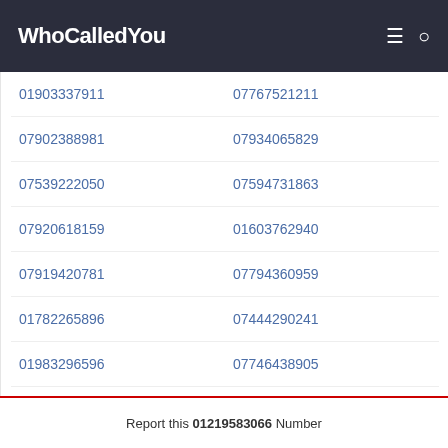WhoCalledYou
01903337911
07767521211
07902388981
07934065829
07539222050
07594731863
07920618159
01603762940
07919420781
07794360959
01782265896
07444290241
01983296596
07746438905
07979677545
07756006410
07414001953
07851347561
Report this 01219583066 Number